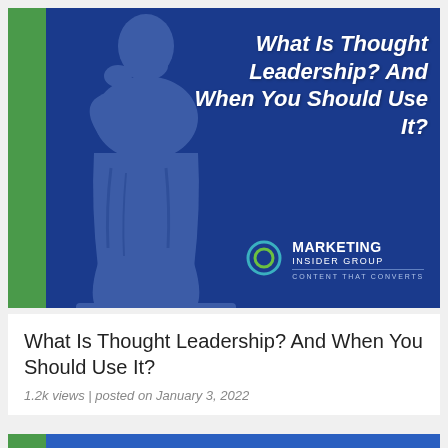[Figure (illustration): Blog article card image with a blue background, green left bar, semi-transparent philosopher statue silhouette, bold italic white title text 'What Is Thought Leadership? And When You Should Use It?' and Marketing Insider Group logo in bottom right corner.]
What Is Thought Leadership? And When You Should Use It?
1.2k views | posted on January 3, 2022